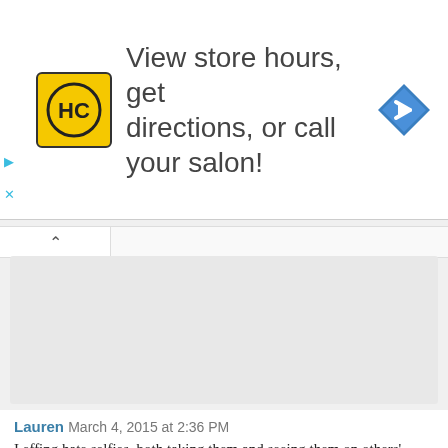[Figure (screenshot): Advertisement banner: HC logo (yellow square with HC text), text 'View store hours, get directions, or call your salon!', and a blue diamond navigation icon on the right. Play and close (X) icons on the far left.]
Lauren  March 4, 2015 at 2:36 PM
I effing hate selfies, both taking them and seeing them on others' feed. I get if you're a VS supermodel and that's the reason most people are probably following you, but not